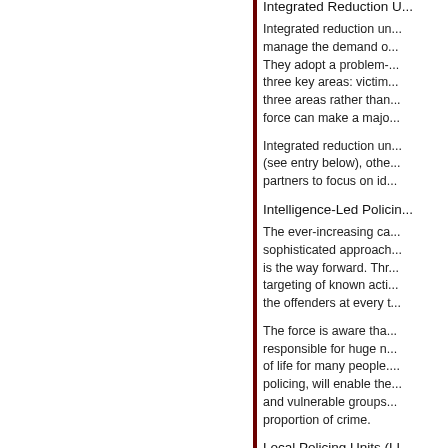Integrated Reduction U...
Integrated reduction un... manage the demand o... They adopt a problem-... three key areas: victim... three areas rather than... force can make a majo...
Integrated reduction un... (see entry below), othe... partners to focus on id...
Intelligence-Led Policin...
The ever-increasing ca... sophisticated approach... is the way forward. Thr... targeting of known acti... the offenders at every t...
The force is aware tha... responsible for huge n... of life for many people.... policing, will enable the... and vulnerable groups... proportion of crime.
Local Policing Units (LL...